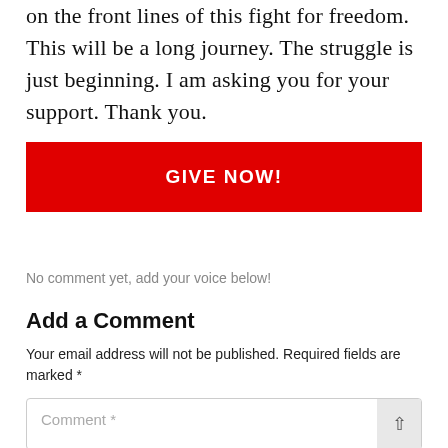on the front lines of this fight for freedom. This will be a long journey. The struggle is just beginning. I am asking you for your support. Thank you.
[Figure (other): Red button with white bold text reading GIVE NOW!]
No comment yet, add your voice below!
Add a Comment
Your email address will not be published. Required fields are marked *
Comment *